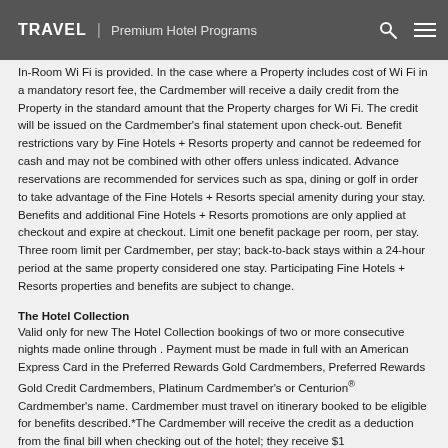TRAVEL | Premium Hotel Programs
In-Room Wi Fi is provided. In the case where a Property includes cost of Wi Fi in a mandatory resort fee, the Cardmember will receive a daily credit from the Property in the standard amount that the Property charges for Wi Fi. The credit will be issued on the Cardmember's final statement upon check-out. Benefit restrictions vary by Fine Hotels + Resorts property and cannot be redeemed for cash and may not be combined with other offers unless indicated. Advance reservations are recommended for services such as spa, dining or golf in order to take advantage of the Fine Hotels + Resorts special amenity during your stay. Benefits and additional Fine Hotels + Resorts promotions are only applied at checkout and expire at checkout. Limit one benefit package per room, per stay. Three room limit per Cardmember, per stay; back-to-back stays within a 24-hour period at the same property considered one stay. Participating Fine Hotels + Resorts properties and benefits are subject to change.
The Hotel Collection
Valid only for new The Hotel Collection bookings of two or more consecutive nights made online through . Payment must be made in full with an American Express Card in the Preferred Rewards Gold Cardmembers, Preferred Rewards Gold Credit Cardmembers, Platinum Cardmember's or Centurion® Cardmember's name. Cardmember must travel on itinerary booked to be eligible for benefits described.*The Cardmember will receive the credit as a deduction from the final bill when checking out of the hotel; they receive $1